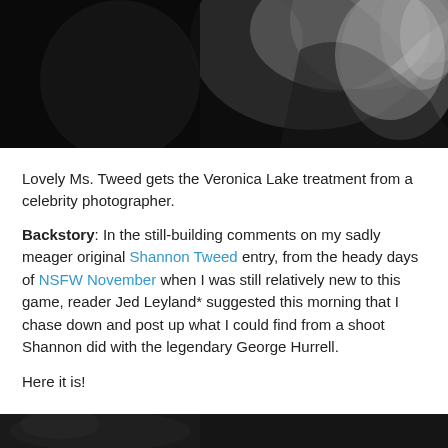[Figure (photo): Black and white glamour photograph, dark background with smoky ethereal light effects, appears to be a vintage Hollywood-style portrait]
Lovely Ms. Tweed gets the Veronica Lake treatment from a celebrity photographer.
Backstory: In the still-building comments on my sadly meager original Shannon Tweed entry, from the heady days of NSFW November when I was still relatively new to this game, reader Jed Leyland* suggested this morning that I chase down and post up what I could find from a shoot Shannon did with the legendary George Hurrell.
Here it is!
[Figure (photo): Partial view of a dark photograph at the bottom of the page, appears to be another glamour photo]